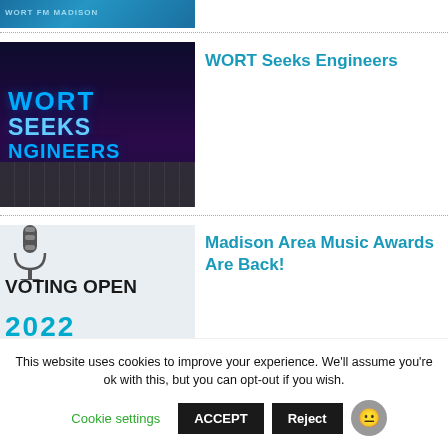[Figure (photo): Cropped top strip of a blue-tinted image, partially visible]
[Figure (photo): WORT Seeks Engineers - mixing board/keyboard with blue text overlay reading WORT SEEKS ENGINEERS]
WORT Seeks Engineers
[Figure (photo): Voting Open 2022 image with microphone and teal text for Madison Area Music Awards]
Madison Area Music Awards Are Back!
This website uses cookies to improve your experience. We'll assume you're ok with this, but you can opt-out if you wish.
Cookie settings   ACCEPT   Reject